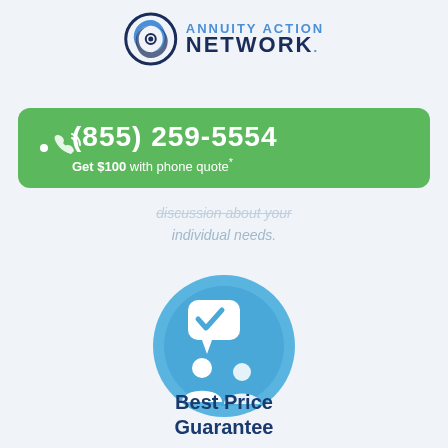[Figure (logo): Annuity Action Network logo with circular swirl icon and text]
[Figure (infographic): Green phone banner with phone icon showing (855) 259-5554 and 'Get $100 with phone quote*']
discussion about your individual needs.
[Figure (illustration): Blue circular icon with two people figures and a speech bubble with checkmark, representing Best Price Guarantee]
Best Price Guarantee